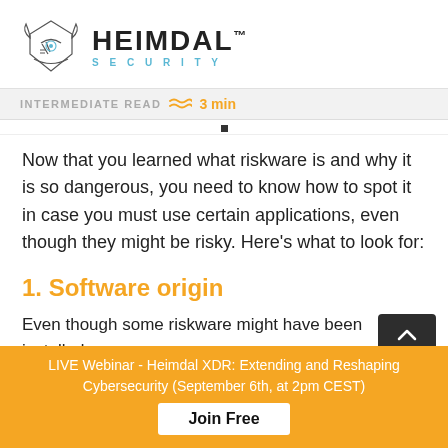[Figure (logo): Heimdal Security logo with Norse helmet illustration and HEIMDAL SECURITY text]
INTERMEDIATE READ ≈≈≈ 3 min
Now that you learned what riskware is and why it is so dangerous, you need to know how to spot it in case you must use certain applications, even though they might be risky. Here's what to look for:
1. Software origin
Even though some riskware might have been installed...
LIVE Webinar - Heimdal XDR: Extending and Reshaping Cybersecurity (September 6th, at 2pm CEST)
Join Free